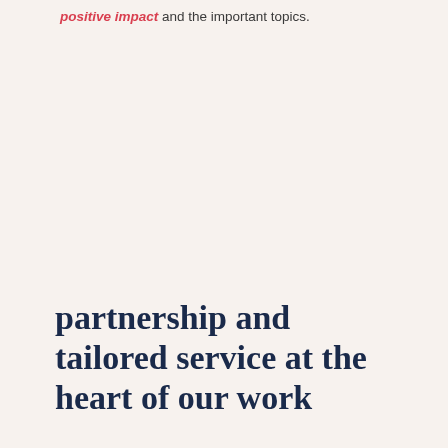positive impact and the important topics.
partnership and tailored service at the heart of our work